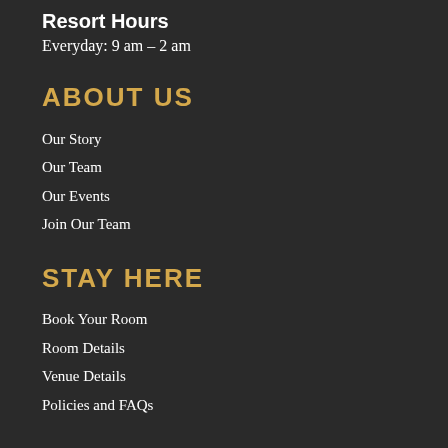Resort Hours
Everyday: 9 am – 2 am
ABOUT US
Our Story
Our Team
Our Events
Join Our Team
STAY HERE
Book Your Room
Room Details
Venue Details
Policies and FAQs